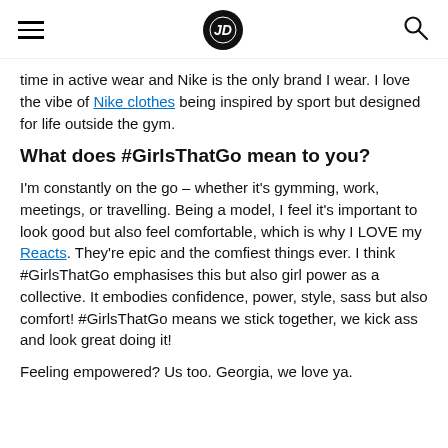JD Sports navigation header with hamburger menu, JD logo, and search icon
time in active wear and Nike is the only brand I wear. I love the vibe of Nike clothes being inspired by sport but designed for life outside the gym.
What does #GirlsThatGo mean to you?
I'm constantly on the go – whether it's gymming, work, meetings, or travelling. Being a model, I feel it's important to look good but also feel comfortable, which is why I LOVE my Reacts. They're epic and the comfiest things ever. I think #GirlsThatGo emphasises this but also girl power as a collective. It embodies confidence, power, style, sass but also comfort! #GirlsThatGo means we stick together, we kick ass and look great doing it!
Feeling empowered? Us too. Georgia, we love ya.